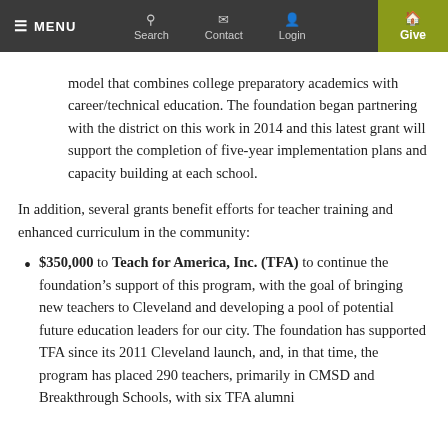MENU | Search | Contact | Login | Give
model that combines college preparatory academics with career/technical education. The foundation began partnering with the district on this work in 2014 and this latest grant will support the completion of five-year implementation plans and capacity building at each school.
In addition, several grants benefit efforts for teacher training and enhanced curriculum in the community:
$350,000 to Teach for America, Inc. (TFA) to continue the foundation’s support of this program, with the goal of bringing new teachers to Cleveland and developing a pool of potential future education leaders for our city. The foundation has supported TFA since its 2011 Cleveland launch, and, in that time, the program has placed 290 teachers, primarily in CMSD and Breakthrough Schools, with six TFA alumni